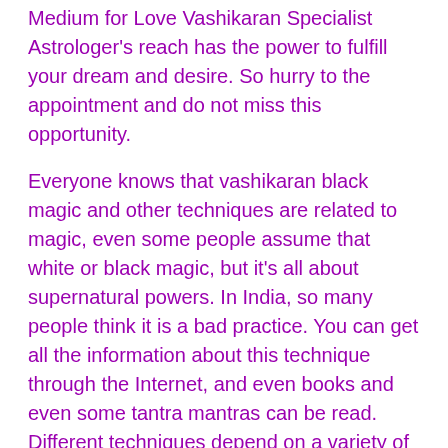Medium for Love Vashikaran Specialist Astrologer's reach has the power to fulfill your dream and desire. So hurry to the appointment and do not miss this opportunity.
Everyone knows that vashikaran black magic and other techniques are related to magic, even some people assume that white or black magic, but it's all about supernatural powers. In India, so many people think it is a bad practice. You can get all the information about this technique through the Internet, and even books and even some tantra mantras can be read. Different techniques depend on a variety of reasons, the needs, and the need for troubleshooting. You should choose an experienced person to solve all your problems in your life. Looking for more information about Love Vashikaran Specialist Astrologer and his techniques then contact Vikash JI Maharaj will give you real-time according to your solutions.
[Figure (logo): Watermark logo, semi-transparent pink/salmon colored decorative symbol]
Vashikaran Specialist Astrologer
Love Vashikaran Specialist Astrologer specializing in different areas.